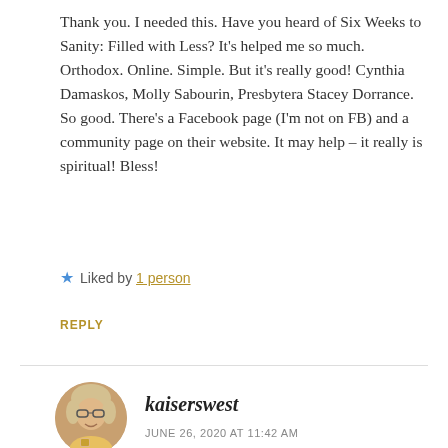Thank you. I needed this. Have you heard of Six Weeks to Sanity: Filled with Less? It’s helped me so much. Orthodox. Online. Simple. But it’s really good! Cynthia Damaskos, Molly Sabourin, Presbytera Stacey Dorrance. So good. There’s a Facebook page (I’m not on FB) and a community page on their website. It may help – it really is spiritual! Bless!
★ Liked by 1 person
REPLY
kaiserswest
JUNE 26, 2020 AT 11:42 AM